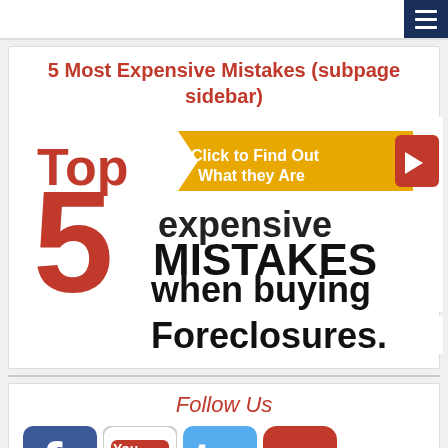5 Most Expensive Mistakes (subpage sidebar)
[Figure (infographic): Top 5 expensive MISTAKES when buying Foreclosures. banner with yellow ribbon 'Click to Find Out What they Are' and arrow button. Large red '5' and red 'Top' text on white background with bold black text.]
Follow Us
[Figure (infographic): Row of social media icons: Facebook (blue), YouTube (white/red), Twitter (light blue), and a red M icon. Below is a Share button with orange plus sign.]